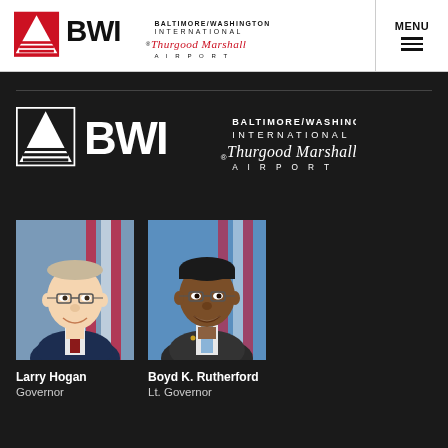[Figure (logo): BWI Baltimore/Washington International Thurgood Marshall Airport logo in header]
MENU
[Figure (logo): BWI Baltimore/Washington International Thurgood Marshall Airport logo on dark background]
[Figure (photo): Portrait photo of Larry Hogan, Governor]
Larry Hogan
Governor
[Figure (photo): Portrait photo of Boyd K. Rutherford, Lt. Governor]
Boyd K. Rutherford
Lt. Governor